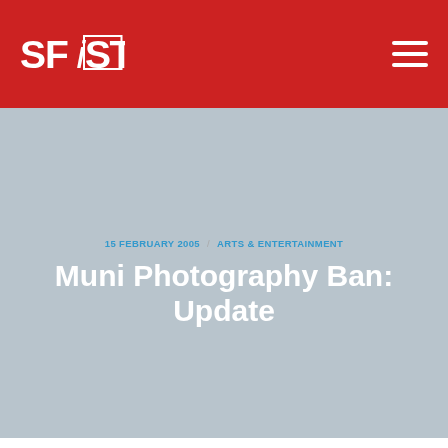SFiST
15 FEBRUARY 2005 / ARTS & ENTERTAINMENT
Muni Photography Ban: Update